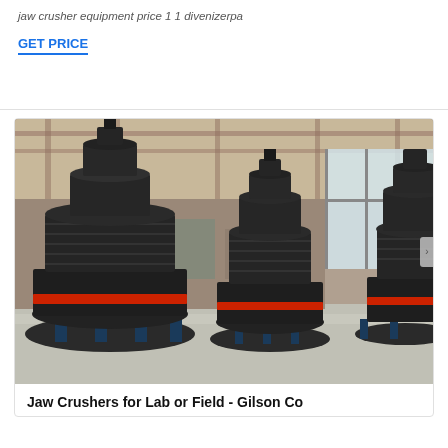jaw crusher equipment price 1 1 divenizerpa
GET PRICE
[Figure (photo): Industrial factory interior showing multiple large cone crusher machines (dark grey/black with red accents) arranged in a row on a concrete floor inside a large industrial building with natural light from windows.]
Jaw Crushers for Lab or Field - Gilson Co